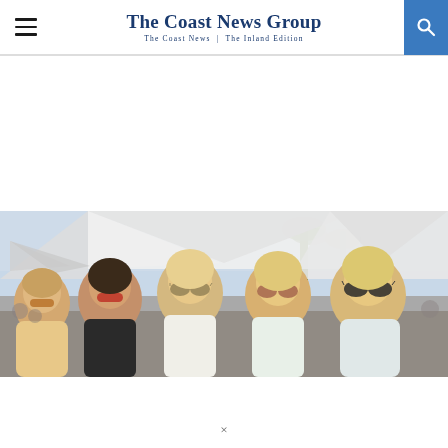The Coast News Group — The Coast News | The Inland Edition
[Figure (photo): Five young women wearing sunglasses smiling at an outdoor event with white tent canopies and palm trees in the background.]
×